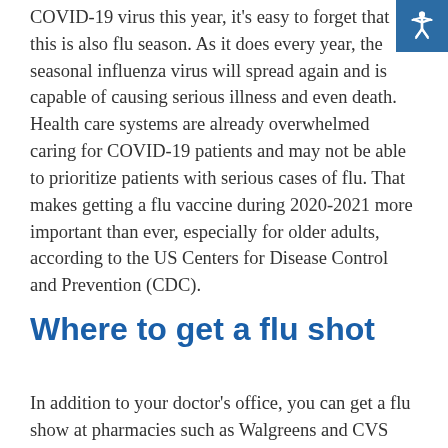COVID-19 virus this year, it's easy to forget that this is also flu season. As it does every year, the seasonal influenza virus will spread again and is capable of causing serious illness and even death. Health care systems are already overwhelmed caring for COVID-19 patients and may not be able to prioritize patients with serious cases of flu. That makes getting a flu vaccine during 2020-2021 more important than ever, especially for older adults, according to the US Centers for Disease Control and Prevention (CDC).
Where to get a flu shot
In addition to your doctor's office, you can get a flu show at pharmacies such as Walgreens and CVS and